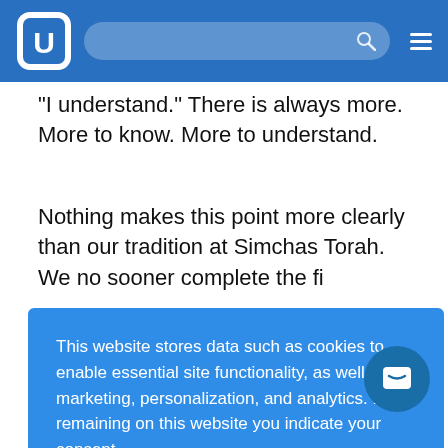[Figure (screenshot): Website header with logo, search bar, and hamburger menu on blue background]
“I understand.” There is always more. More to know. More to understand.
Nothing makes this point more clearly than our tradition at Simchas Torah. We no sooner complete the final reading of Devarim than we immediately begin [reading again.] And when [we finish...] re, Hadran [alach...] . But we [have mast] tered it all. It is n[ot...]
This website stores data such as cookies to enable essential site functionality, as well as marketing, personalization, and analytics. By remaining on this website you indicate your consent.
Privacy Policy
As Rabbi Nosan (23:4) affirms...